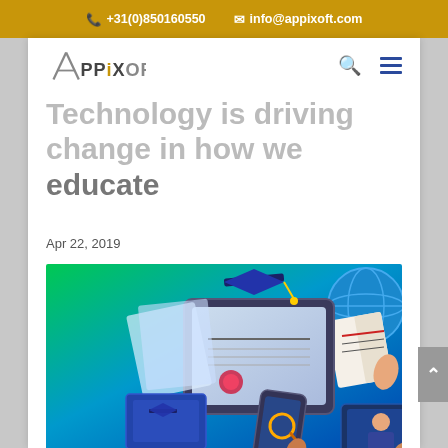+31(0)850160550   info@appixoft.com
[Figure (logo): AppixOft company logo — diagonal slash lines forming an 'A' shape with the text APPIXOFT]
Technology is driving change in how we educate
Apr 22, 2019
[Figure (illustration): Educational technology illustration with gradient blue-green background showing a diploma/certificate on tablet, graduation cap, globe, open book, desktop monitor with graduation cap, smartphone with magnifying glass, and tablet with video call — representing e-learning and digital education tools]